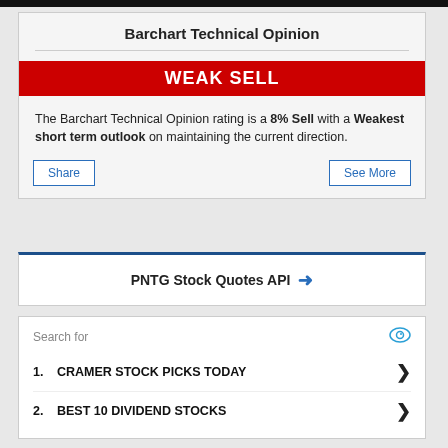Barchart Technical Opinion
WEAK SELL
The Barchart Technical Opinion rating is a 8% Sell with a Weakest short term outlook on maintaining the current direction.
Share | See More
PNTG Stock Quotes API →
Search for
1. CRAMER STOCK PICKS TODAY
2. BEST 10 DIVIDEND STOCKS